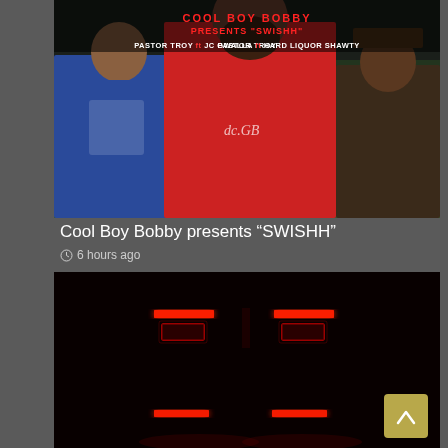[Figure (photo): Music promotional image showing three men: one in a blue jersey on the left, one in a red hoodie in the center, one in a dark jacket on the right. Text at top reads 'PASTOR TROY ft JC GWALLA ft HARD LIQUOR SHAWTY' in red and white.]
Cool Boy Bobby presents “SWISHH”
⏰ 6 hours ago
[Figure (photo): Dark nighttime photo showing red lights from what appears to be a vehicle or equipment, with glowing red rectangular shapes visible against a black background.]